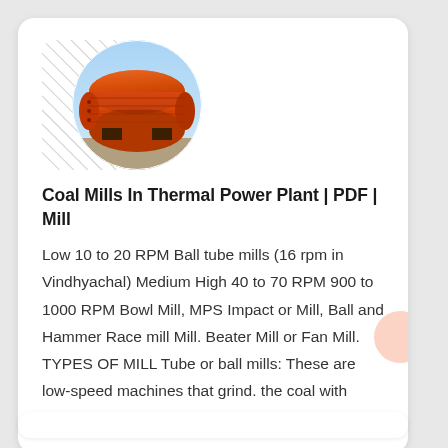[Figure (photo): Circular cropped photo of a large orange industrial ball tube mill/cylinder on a blue sky background, positioned in the upper-left of the card with a diagonal hatch pattern background behind it.]
Coal Mills In Thermal Power Plant | PDF | Mill
Low 10 to 20 RPM Ball tube mills (16 rpm in Vindhyachal) Medium High 40 to 70 RPM 900 to 1000 RPM Bowl Mill, MPS Impact or Mill, Ball and Hammer Race mill Mill. Beater Mill or Fan Mill. TYPES OF MILL Tube or ball mills: These are low-speed machines that grind. the coal with steel balls in a rotating horizontal cylinder. If the